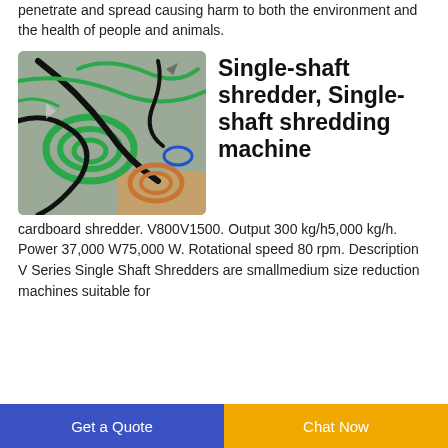penetrate and spread causing harm to both the environment and the health of people and animals.
[Figure (photo): Photo of various colored electrical wires and cables coiled on a flat surface — green, black, copper, and blue cables tangled together.]
Single-shaft shredder, Single-shaft shredding machine
cardboard shredder. V800V1500. Output 300 kg/h5,000 kg/h. Power 37,000 W75,000 W. Rotational speed 80 rpm. Description V Series Single Shaft Shredders are smallmedium size reduction machines suitable for
Get a Quote | Chat Now